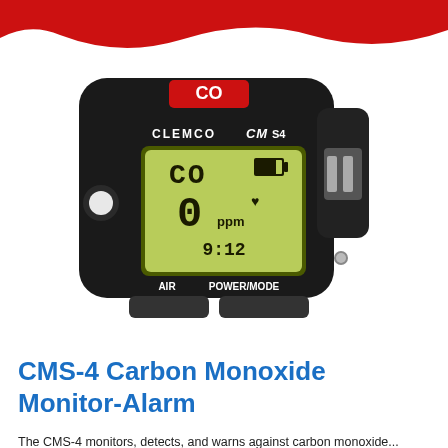[Figure (photo): Photo of a Clemco CMS-4 Carbon Monoxide Monitor-Alarm device. Black plastic handheld unit with LCD display showing 'CO', '0 ppm', '9:12', battery icon, and heart icon. Red label on top reads 'CO'. Buttons labeled 'AIR' and 'POWER/MODE' on the bottom.]
CMS-4 Carbon Monoxide Monitor-Alarm
The CMS-4 monitors, detects, and warns against carbon monoxide...